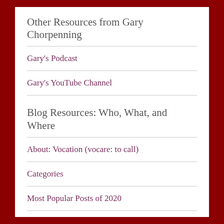Other Resources from Gary Chorpenning
Gary's Podcast
Gary's YouTube Channel
Blog Resources: Who, What, and Where
About: Vocation (vocare: to call)
Categories
Most Popular Posts of 2020
Photograph Index (Hyperlinked)